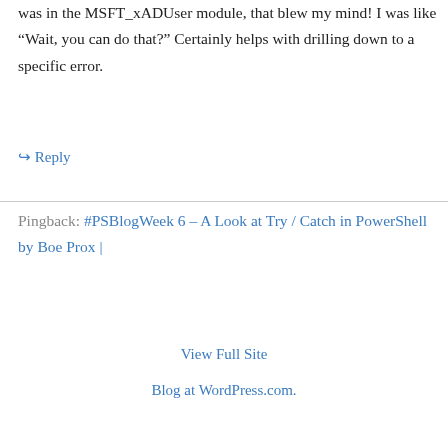was in the MSFT_xADUser module, that blew my mind! I was like “Wait, you can do that?” Certainly helps with drilling down to a specific error.
↪ Reply
Pingback: #PSBlogWeek 6 – A Look at Try / Catch in PowerShell by Boe Prox |
View Full Site
Blog at WordPress.com.